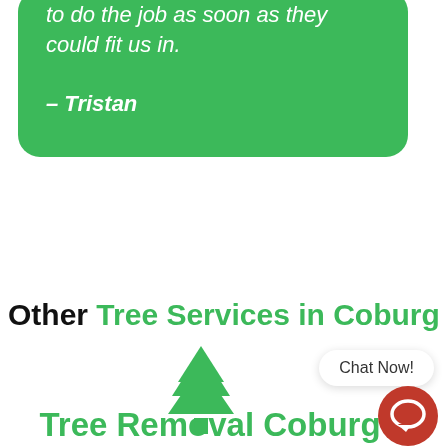to do the job as soon as they could fit us in.
– Tristan
Other Tree Services in Coburg
[Figure (illustration): Green tree/pine icon]
Tree Removal Coburg
Chat Now!